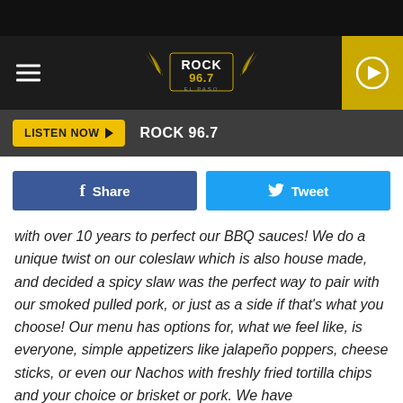[Figure (screenshot): Rock 96.7 radio station website header with logo, hamburger menu, and play button on gold background]
LISTEN NOW ▶  ROCK 96.7
[Figure (infographic): Facebook Share button (blue) and Twitter Tweet button (light blue) side by side]
with over 10 years to perfect our BBQ sauces! We do a unique twist on our coleslaw which is also house made, and decided a spicy slaw was the perfect way to pair with our smoked pulled pork, or just as a side if that's what you choose! Our menu has options for, what we feel like, is everyone, simple appetizers like jalapeño poppers, cheese sticks, or even our Nachos with freshly fried tortilla chips and your choice or brisket or pork. We have hamburgers/cheese